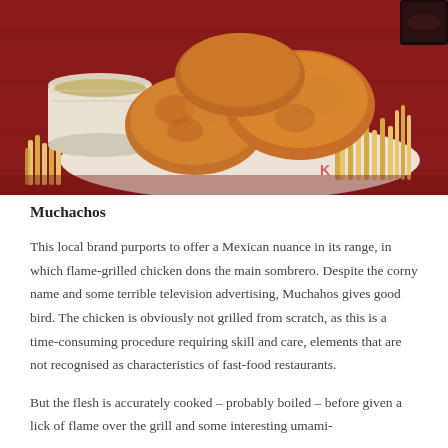[Figure (photo): KFC fried chicken pieces with french fries and a cup of dipping sauce on a red and white KFC branded paper, on a red wooden surface. A dark sauce container is visible in the upper right corner.]
Muchachos
This local brand purports to offer a Mexican nuance in its range, in which flame-grilled chicken dons the main sombrero. Despite the corny name and some terrible television advertising, Muchahos gives good bird. The chicken is obviously not grilled from scratch, as this is a time-consuming procedure requiring skill and care, elements that are not recognised as characteristics of fast-food restaurants.
But the flesh is accurately cooked – probably boiled – before given a lick of flame over the grill and some interesting umami-